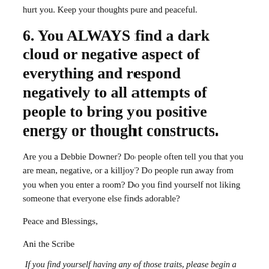hurt you. Keep your thoughts pure and peaceful.
6. You ALWAYS find a dark cloud or negative aspect of everything and respond negatively to all attempts of people to bring you positive energy or thought constructs.
Are you a Debbie Downer? Do people often tell you that you are mean, negative, or a killjoy? Do people run away from you when you enter a room? Do you find yourself not liking someone that everyone else finds adorable?
Peace and Blessings,
Ani the Scribe
If you find yourself having any of those traits, please begin a Bio-Regeneis program of some kind–be it Keylontic Science, Buddhist, Hindu, Santeria, Voudun, Kemitic, Wiccan, etc. Feel